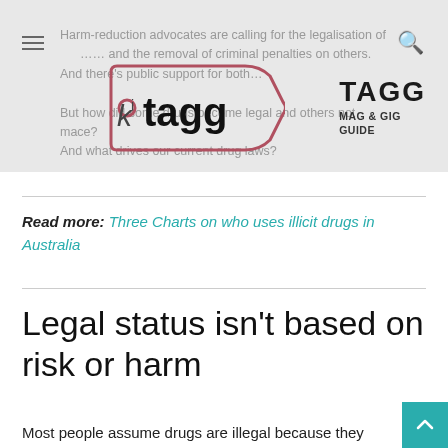[Figure (logo): TAGG Mag & Gig Guide website header with hamburger menu, search icon, tag-shaped logo with 'tagg' text, and 'TAGG MAG & GIG GUIDE' branding. Background shows faded article text.]
Read more: Three Charts on who uses illicit drugs in Australia
Legal status isn't based on risk or harm
Most people assume drugs are illegal because they are